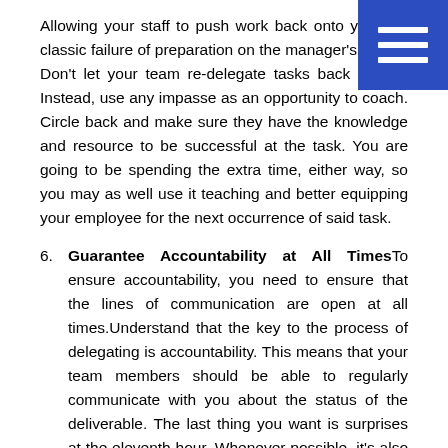Allowing your staff to push work back onto you is a classic failure of preparation on the manager's behalf. Don't let your team re-delegate tasks back to you. Instead, use any impasse as an opportunity to coach. Circle back and make sure they have the knowledge and resource to be successful at the task. You are going to be spending the extra time, either way, so you may as well use it teaching and better equipping your employee for the next occurrence of said task.
6. Guarantee Accountability at All Times To ensure accountability, you need to ensure that the lines of communication are open at all times. Understand that the key to the process of delegating is accountability. This means that your team members should be able to regularly communicate with you about the status of the deliverable. The last thing you want is surprises at the eleventh hour. Whenever possible, it's also a good idea to leave enough time for contingencies.
7. Ensure That Outsourced Work Is Measurable Last but